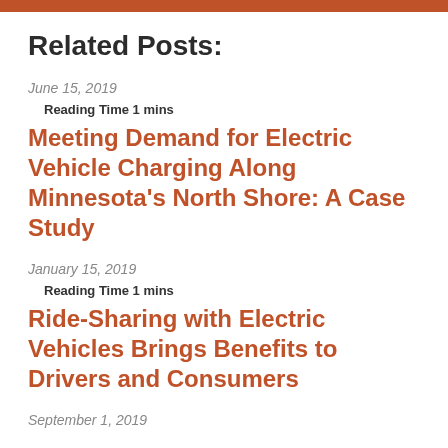Related Posts:
June 15, 2019
Reading Time 1 mins
Meeting Demand for Electric Vehicle Charging Along Minnesota’s North Shore: A Case Study
January 15, 2019
Reading Time 1 mins
Ride-Sharing with Electric Vehicles Brings Benefits to Drivers and Consumers
September 1, 2019